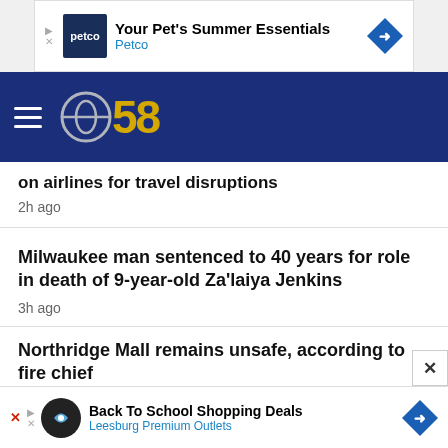[Figure (screenshot): Petco ad banner: logo, 'Your Pet's Summer Essentials', 'Petco', arrow icon]
[Figure (logo): CBS 58 navigation bar with hamburger menu and CBS 58 logo in blue and gold]
on airlines for travel disruptions
2h ago
Milwaukee man sentenced to 40 years for role in death of 9-year-old Za'laiya Jenkins
3h ago
Northridge Mall remains unsafe, according to fire chief
3h ago
[Figure (screenshot): Bottom ad: Back To School Shopping Deals, Leesburg Premium Outlets]